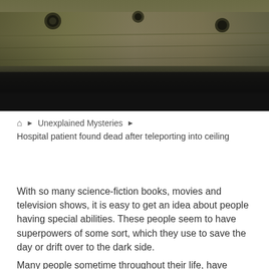[Figure (photo): Industrial or mechanical equipment photographed from above, dark metallic surfaces with bolts/fittings visible, olive/khaki tones with a black bar below]
Home › Unexplained Mysteries › Hospital patient found dead after teleporting into ceiling
With so many science-fiction books, movies and television shows, it is easy to get an idea about people having special abilities. These people seem to have superpowers of some sort, which they use to save the day or drift over to the dark side.
Many people sometime throughout their life, have